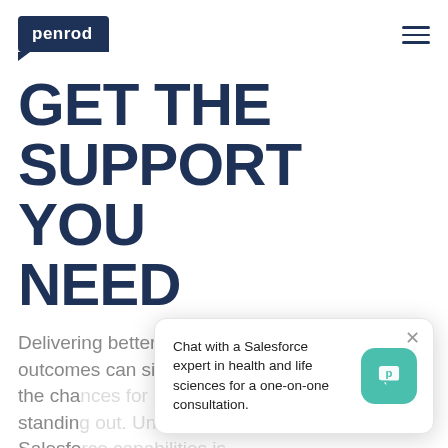[Figure (logo): Penrod logo: white text 'penrod' on dark navy speech-bubble shaped box]
GET THE SUPPORT YOU NEED
Delivering better long-term care outcomes can significantly increase the cha... standin... Salesfo... undoubtedly an invaluable tool in such efforts.
[Figure (screenshot): Chat popup: 'Chat with a Salesforce expert in health and life sciences for a one-on-one consultation.' with teal Penrod icon button and close X]